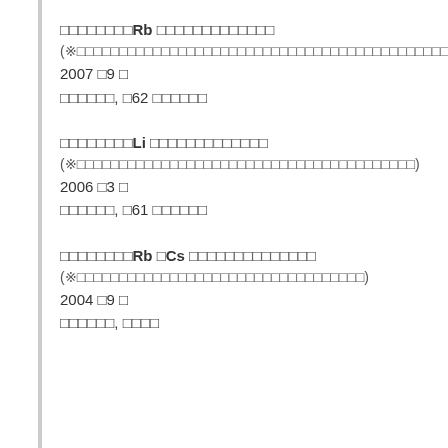□□□□□□□□Rb □□□□□□□□□□□□□
(※□□□□□□□□□□□□□□□□□□□□□□□□□□□□□□□□□□□□□□□□□□□□)
2007 □9 □
□□□□□□, □62 □□□□□□
□□□□□□□□Li □□□□□□□□□□□□□
(※□□□□□□□□□□□□□□□□□□□□□□□□□□□□□□□□□□□□□□□□)
2006 □3 □
□□□□□□, □61 □□□□□□
□□□□□□□□Rb □Cs □□□□□□□□□□□□□□
(※□□□□□□□□□□□□□□□□□□□□□□□□□□□□□□□□□□)
2004 □9 □
□□□□□□, □□□□